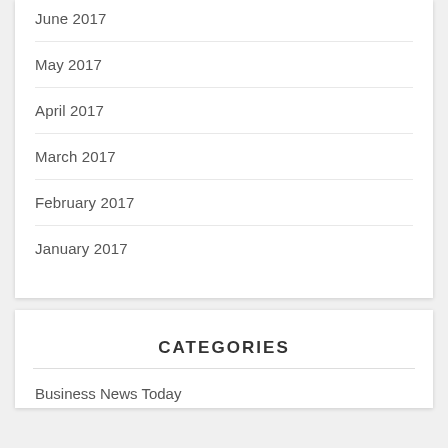June 2017
May 2017
April 2017
March 2017
February 2017
January 2017
CATEGORIES
Business News Today